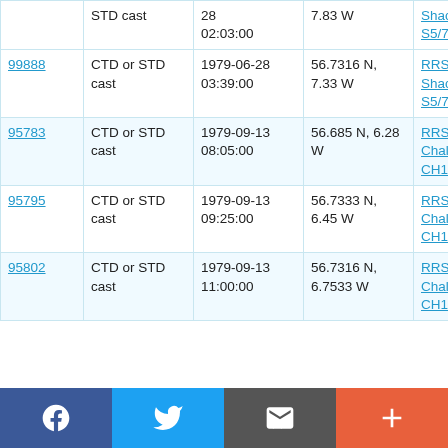| ID | Type | Date/Time | Coordinates | Vessel/Cruise |
| --- | --- | --- | --- | --- |
| (partial) | STD cast | 28
02:03:00 | 7.83 W | Shackleton S5/79 |
| 99888 | CTD or STD cast | 1979-06-28
03:39:00 | 56.7316 N, 7.33 W | RRS Shackleton S5/79 |
| 95783 | CTD or STD cast | 1979-09-13
08:05:00 | 56.685 N, 6.28 W | RRS Challenger CH13/79 |
| 95795 | CTD or STD cast | 1979-09-13
09:25:00 | 56.7333 N, 6.45 W | RRS Challenger CH13/79 |
| 95802 | CTD or STD cast | 1979-09-13 11:00:00 | 56.7316 N, 6.7533 W | RRS Challenger CH13/79 |
Social sharing bar: Facebook, Twitter, Email, More